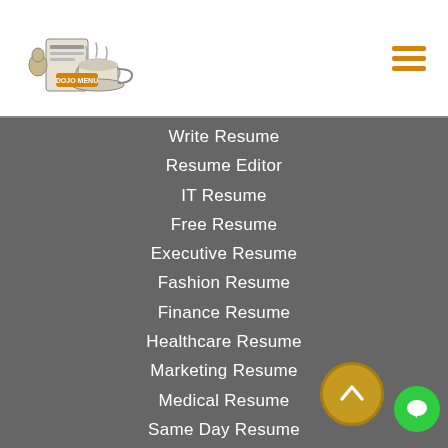[Figure (logo): Resume Dojo logo with coffee cup and newspaper illustration]
Write Resume
Resume Editor
IT Resume
Free Resume
Executive Resume
Fashion Resume
Finance Resume
Healthcare Resume
Marketing Resume
Medical Resume
Same Day Resume